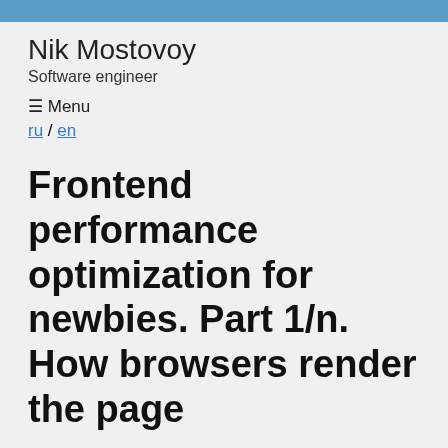Nik Mostovoy
Software engineer
☰ Menu
ru / en
Frontend performance optimization for newbies. Part 1/n. How browsers render the page
*It's quite difficult to cover all the themes about frontend optimization. So I'm